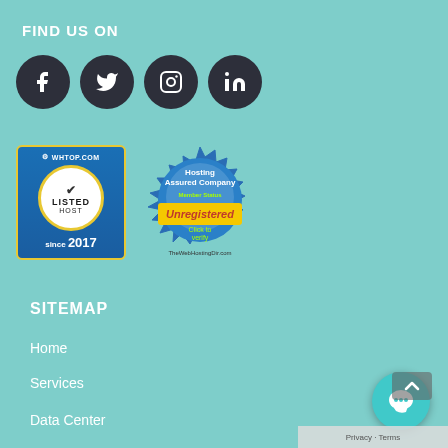FIND US ON
[Figure (infographic): Four social media circular icon buttons: Facebook, Twitter, Instagram, LinkedIn — dark navy circles with white icons]
[Figure (infographic): Two hosting badges: WHTOP.COM Listed Host since 2017 badge (blue/gold), and TheWebHostingDir.com Hosting Assured Company Unregistered Member Status badge]
SITEMAP
Home
Services
Data Center